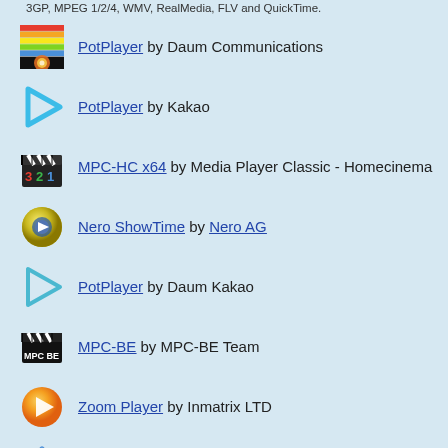3GP, MPEG 1/2/4, WMV, RealMedia, FLV and QuickTime.
PotPlayer by Daum Communications
PotPlayer by Kakao
MPC-HC x64 by Media Player Classic - Homecinema
Nero ShowTime by Nero AG
PotPlayer by Daum Kakao
MPC-BE by MPC-BE Team
Zoom Player by Inmatrix LTD
VLC media player ACE Stream by the VideoLAN Team (A
[1] [2] [3]